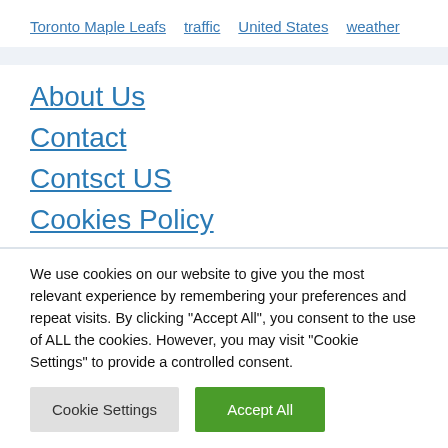Toronto Maple Leafs
traffic
United States
weather
About Us
Contact
Contsct US
Cookies Policy
We use cookies on our website to give you the most relevant experience by remembering your preferences and repeat visits. By clicking “Accept All”, you consent to the use of ALL the cookies. However, you may visit "Cookie Settings" to provide a controlled consent.
Cookie Settings | Accept All